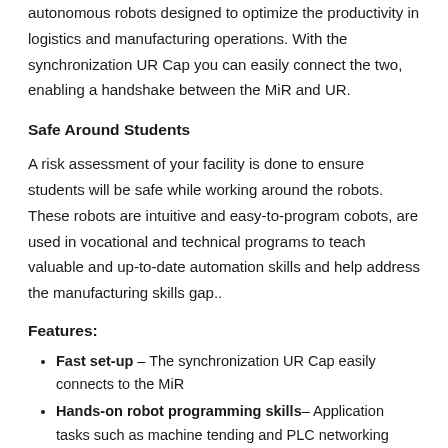autonomous robots designed to optimize the productivity in logistics and manufacturing operations. With the synchronization UR Cap you can easily connect the two, enabling a handshake between the MiR and UR.
Safe Around Students
A risk assessment of your facility is done to ensure students will be safe while working around the robots. These robots are intuitive and easy-to-program cobots, are used in vocational and technical programs to teach valuable and up-to-date automation skills and help address the manufacturing skills gap..
Features:
Fast set-up – The synchronization UR Cap easily connects to the MiR
Hands-on robot programming skills– Application tasks such as machine tending and PLC networking through Ethernet I. Students also learn to make customized, 3D printed grippers for the UR robots, using the online